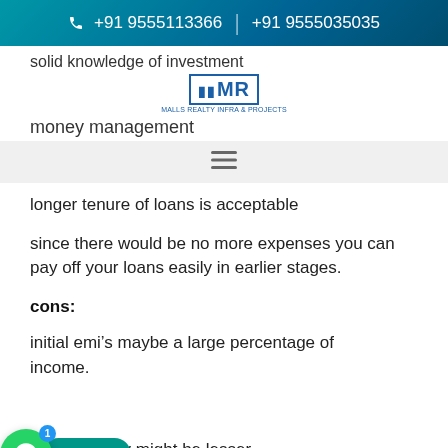+91 9555113366 | +91 9555035035
solid knowledge of investment
[Figure (logo): MR logo with text MALLS REALTY INFRA & PROJECTS]
money management
longer tenure of loans is acceptable
since there would be no more expenses you can pay off your loans easily in earlier stages.
cons:
initial emi’s maybe a large percentage of income.
[Figure (infographic): WhatsApp chat button with green circle icon, notification badge showing 1, and teal label reading Swetha]
loan eligibility might be lesser.